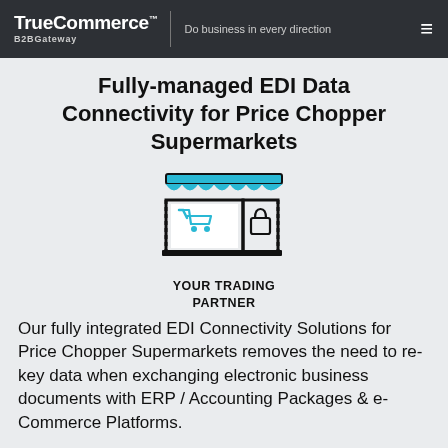TrueCommerce B2BGateway | Do business in every direction
Fully-managed EDI Data Connectivity for Price Chopper Supermarkets
[Figure (illustration): Icon of a storefront/retail shop with a shopping cart and lock symbol, with the text YOUR TRADING PARTNER below it]
Our fully integrated EDI Connectivity Solutions for Price Chopper Supermarkets removes the need to re-key data when exchanging electronic business documents with ERP / Accounting Packages & e-Commerce Platforms.